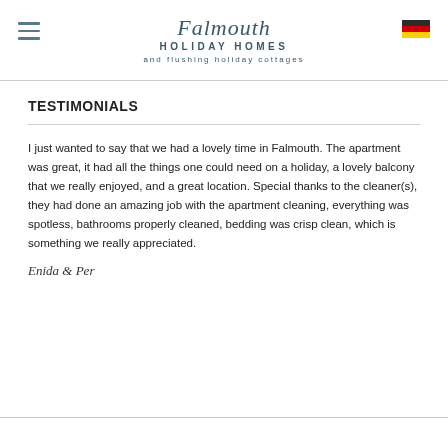Falmouth HOLIDAY HOMES and Flushing Holiday Cottages
TESTIMONIALS
I just wanted to say that we had a lovely time in Falmouth. The apartment was great, it had all the things one could need on a holiday, a lovely balcony that we really enjoyed, and a great location. Special thanks to the cleaner(s), they had done an amazing job with the apartment cleaning, everything was spotless, bathrooms properly cleaned, bedding was crisp clean, which is something we really appreciated.
Enida & Per